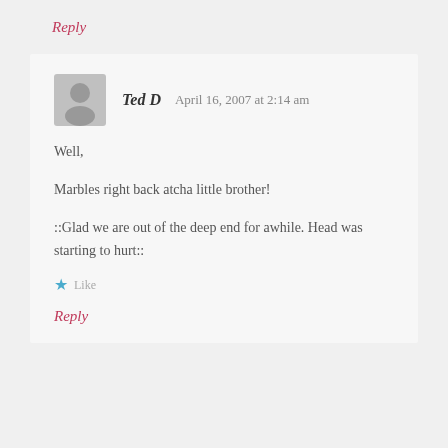Reply
Ted D   April 16, 2007 at 2:14 am
Well,

Marbles right back atcha little brother!

::Glad we are out of the deep end for awhile. Head was starting to hurt::
Like
Reply